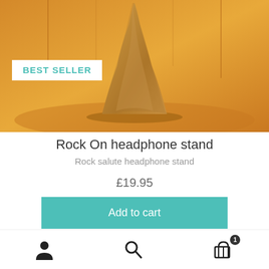[Figure (photo): Product photo of a gold/bronze metallic headphone stand on a warm golden-orange background. A white badge with the text BEST SELLER in teal is overlaid on the lower-left of the image.]
Rock On headphone stand
Rock salute headphone stand
£19.95
Add to cart
[Figure (other): Light blue horizontal banner strip]
Bottom navigation bar with user icon, search icon, and cart icon with badge showing 1